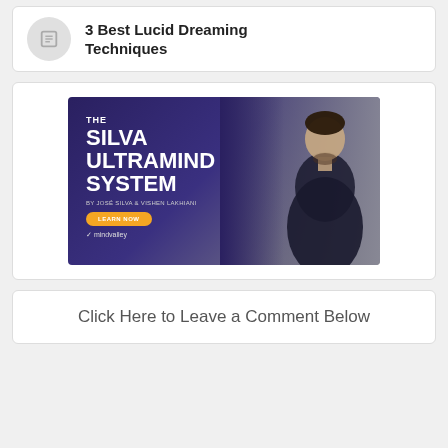3 Best Lucid Dreaming Techniques
[Figure (illustration): The Silva Ultramind System advertisement banner by José Silva & Vishen Lakhiani, featuring a man in a dark shirt, with a Learn Now button and Mindvalley branding]
Click Here to Leave a Comment Below